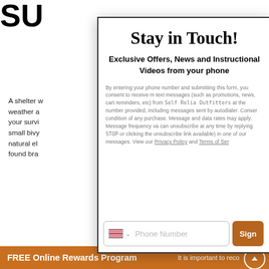SU[RVIVAL KIT OUTFITTERS]
A shelter w[eather a your survi small bivy natural el found bra]
PIN
When the with. Whil in a survi include pi operate w light, a pi campsite
Stay in Touch!
Exclusive Offers, News and Instructional Videos from your phone
By entering your phone number and submitting this form, you consent to receive m text messages (such as promotions, news, cart reminders, etc) from Self Relia Outfitters at the number provided, including messages sent by autodialer. Conser condition of any purchase. Message and data rates may apply. Message frequency va can unsubscribe at any time by replying STOP or clicking the unsubscribe link available) in one of our messages. View our Privacy Policy and Terms of Ser
Phone Number
Sign
FREE Online Rewards Program   It is important to reco[gnize]